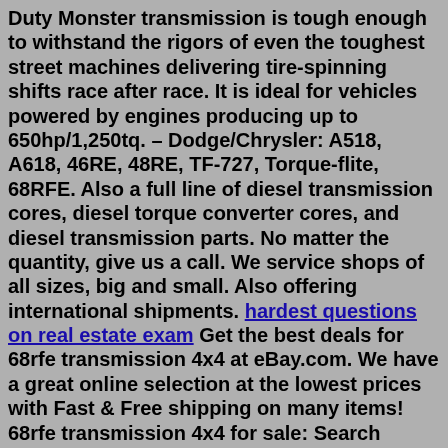Duty Monster transmission is tough enough to withstand the rigors of even the toughest street machines delivering tire-spinning shifts race after race. It is ideal for vehicles powered by engines producing up to 650hp/1,250tq. – Dodge/Chrysler: A518, A618, 46RE, 48RE, TF-727, Torque-flite, 68RFE. Also a full line of diesel transmission cores, diesel torque converter cores, and diesel transmission parts. No matter the quantity, give us a call. We service shops of all sizes, big and small. Also offering international shipments. hardest questions on real estate exam Get the best deals for 68rfe transmission 4x4 at eBay.com. We have a great online selection at the lowest prices with Fast & Free shipping on many items! 68rfe transmission 4x4 for sale: Search Result | eBay DODGE RAM DIESEL STANDARD TRANSMISSION - $1,200 (Tulsa) We have dodge transmission for sale StandardNv4500. 5 sp $1200Nv5600. 6 sp. $1900G56. 6 sp. $2300+ Core exchangeCheavy ford special orders onlyAuto transmission special orders only47-48-68rfe special